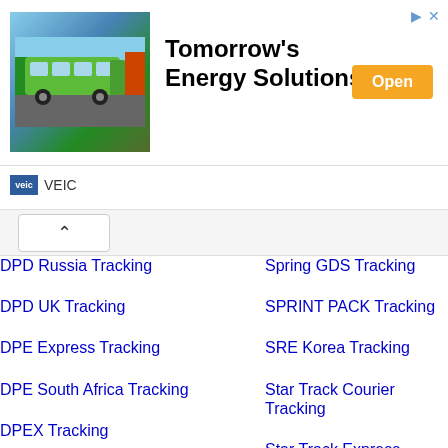[Figure (infographic): Advertisement banner showing a green bus on a road with trees, text 'Tomorrow's Energy Solutions', an orange 'Open' button, and VEIC logo below]
DPD Russia Tracking
Spring GDS Tracking
DPD UK Tracking
SPRINT PACK Tracking
DPE Express Tracking
SRE Korea Tracking
DPE South Africa Tracking
Star Track Courier Tracking
DPEX Tracking
Star Track Express Tracking
DPEX China Tracking
StarTrack Tracking
DSV Tracking
STO Express Tracking